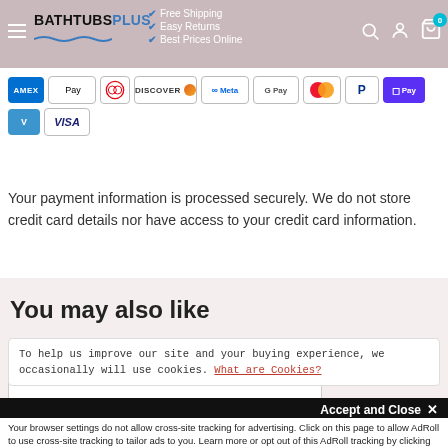BATHTUBSPLUS — Free Shipping, Easy Returns, Best Prices Online
[Figure (other): Payment method logos: AMEX, Apple Pay, Diners, Discover, Meta, Google Pay, Mastercard, PayPal, ShopifyPay, Venmo, Visa]
Your payment information is processed securely. We do not store credit card details nor have access to your credit card information.
You may also like
To help us improve our site and your buying experience, we occasionally will use cookies. What are Cookies?
Accept and Close ✕
Your browser settings do not allow cross-site tracking for advertising. Click on this page to allow AdRoll to use cross-site tracking to tailor ads to you. Learn more or opt out of this AdRoll tracking by clicking here. This message only appears once.